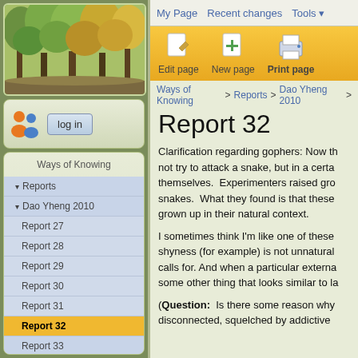[Figure (photo): Forest photo showing trees with autumn foliage, green and yellow leaves]
log in
Ways of Knowing
Reports
Dao Yheng 2010
Report 27
Report 28
Report 29
Report 30
Report 31
Report 32
Report 33
My Page   Recent changes   Tools
Edit page   New page   Print page
Ways of Knowing > Reports > Dao Yheng 2010 >
Report 32
Clarification regarding gophers: Now th... not try to attack a snake, but in a certa... themselves.  Experimenters raised gro... snakes.  What they found is that these... grown up in their natural context.
I sometimes think I'm like one of these... shyness (for example) is not unnatural... calls for. And when a particular externa... some other thing that looks similar to la...
(Question:  Is there some reason why... disconnected, squelched by addictive...